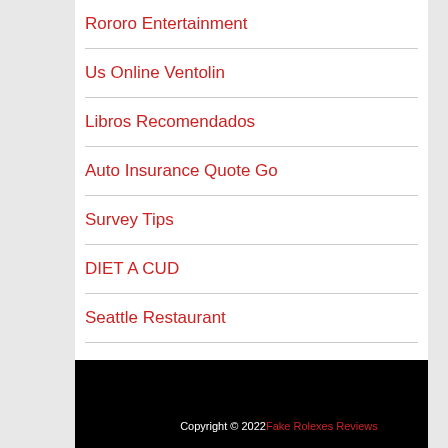Rororo Entertainment
Us Online Ventolin
Libros Recomendados
Auto Insurance Quote Go
Survey Tips
DIET A CUD
Seattle Restaurant
Copyright © 2022 Fake Rolexes Reviews